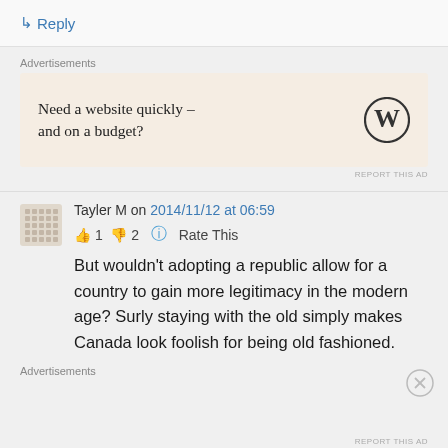↳ Reply
Advertisements
Need a website quickly – and on a budget?
REPORT THIS AD
Tayler M on 2014/11/12 at 06:59
👍 1 👎 2 ℹ Rate This
But wouldn't adopting a republic allow for a country to gain more legitimacy in the modern age? Surly staying with the old simply makes Canada look foolish for being old fashioned.
Advertisements
REPORT THIS AD